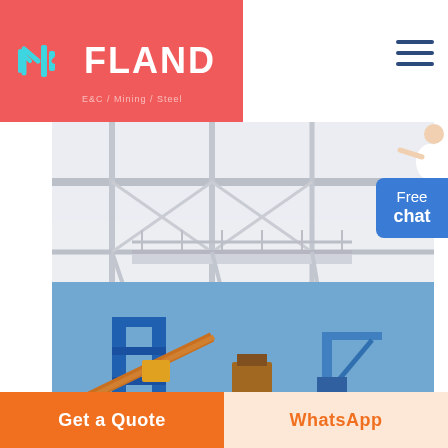[Figure (logo): FLAND company logo with geometric diamond/chevron icon in teal and coral on red background]
[Figure (photo): Industrial facility steel structure and scaffolding, muted grey tones]
[Figure (photo): Industrial machinery with blue frame structure against clear blue sky]
Free chat
Get a Quote
WhatsApp